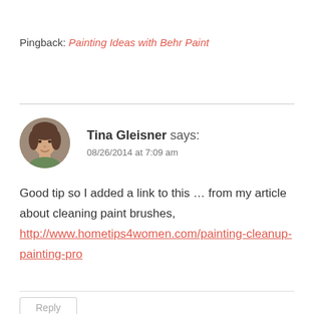Pingback: Painting Ideas with Behr Paint
Tina Gleisner says:
08/26/2014 at 7:09 am
Good tip so I added a link to this … from my article about cleaning paint brushes, http://www.hometips4women.com/painting-cleanup-painting-pro
Reply